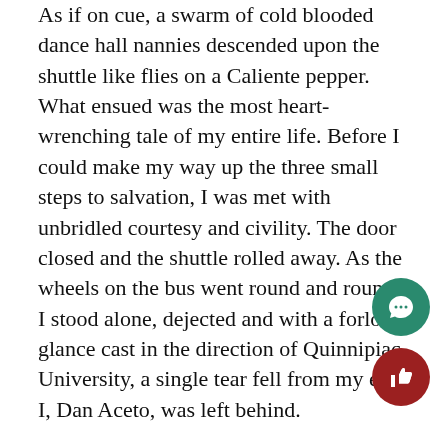As if on cue, a swarm of cold blooded dance hall nannies descended upon the shuttle like flies on a Caliente pepper. What ensued was the most heart-wrenching tale of my entire life. Before I could make my way up the three small steps to salvation, I was met with unbridled courtesy and civility. The door closed and the shuttle rolled away. As the wheels on the bus went round and round, I stood alone, dejected and with a forlorn glance cast in the direction of Quinnipiac University, a single tear fell from my eye. I, Dan Aceto, was left behind.
The Quinnipiac shuttle service has made a turn for the worse, a turn that no longer seems nearly as scenic when making a right out of the New Road entrance. As an upstanding and law-abiding citizen nothing makes me happier to see shuttle drivers adhering to the two person seat law, despite the breadth of cozy and spacious rubber interiors offered within. Students however, are speaking